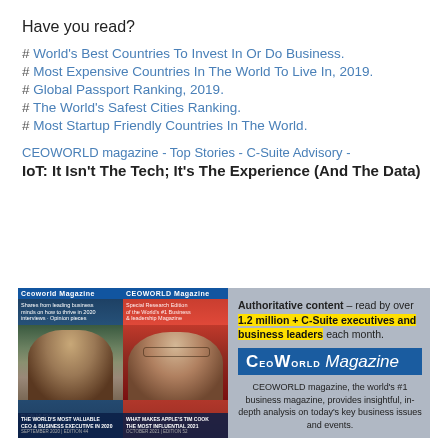Have you read?
# World's Best Countries To Invest In Or Do Business.
# Most Expensive Countries In The World To Live In, 2019.
# Global Passport Ranking, 2019.
# The World's Safest Cities Ranking.
# Most Startup Friendly Countries In The World.
CEOWORLD magazine - Top Stories - C-Suite Advisory - IoT: It Isn't The Tech; It's The Experience (And The Data)
[Figure (infographic): CEOWORLD Magazine advertisement banner showing two magazine covers featuring Elon Musk and Tim Cook, with text: Authoritative content – read by over 1.2 million + C-Suite executives and business leaders each month. CEOWORLD Magazine. CEOWORLD magazine, the world's #1 business magazine, provides insightful, in-depth analysis on today's key business issues and events.]